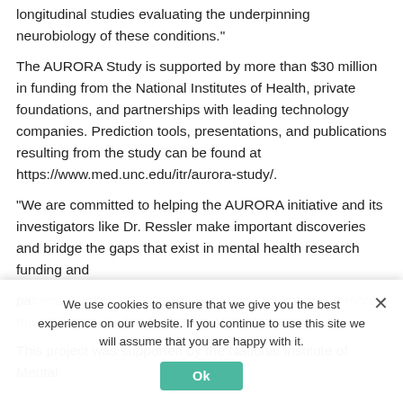longitudinal studies evaluating the underpinning neurobiology of these conditions."
The AURORA Study is supported by more than $30 million in funding from the National Institutes of Health, private foundations, and partnerships with leading technology companies. Prediction tools, presentations, and publications resulting from the study can be found at https://www.med.unc.edu/itr/aurora-study/.
"We are committed to helping the AURORA initiative and its investigators like Dr. Ressler make important discoveries and bridge the gaps that exist in mental health research funding and pa[rtner]... leading brain health nonprofit that has given more than $5 million in funding to the AURORA Study.
This project was supported by the National Institute of Mental
We use cookies to ensure that we give you the best experience on our website. If you continue to use this site we will assume that you are happy with it.